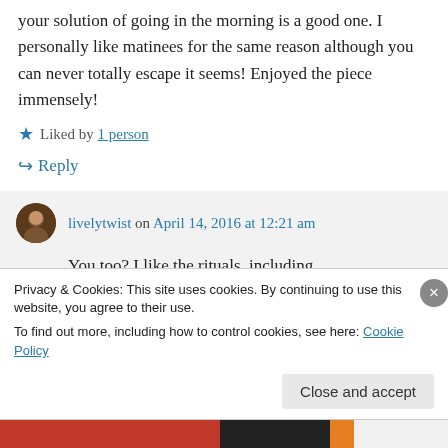your solution of going in the morning is a good one. I personally like matinees for the same reason although you can never totally escape it seems! Enjoyed the piece immensely!
★ Liked by 1 person
↪ Reply
livelytwist on April 14, 2016 at 12:21 am
You too? I like the rituals, including
Privacy & Cookies: This site uses cookies. By continuing to use this website, you agree to their use.
To find out more, including how to control cookies, see here: Cookie Policy
Close and accept